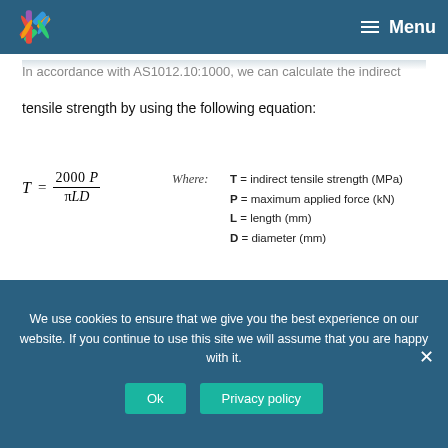Menu
In accordance with AS 1012.10:1000, we can calculate the indirect tensile strength by using the following equation:
Where: T = indirect tensile strength (MPa) P = maximum applied force (kN) L = length (mm) D = diameter (mm)
In order to obtain an accurate measurement of the tensile strength of the material a minimum of two test samples are required. These specimens should be produced in a single mix, exposed to the same curing conditions and tested after 28 days.
We use cookies to ensure that we give you the best experience on our website. If you continue to use this site we will assume that you are happy with it.